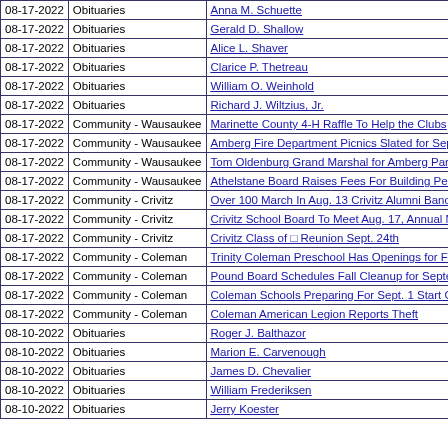| Date | Category | Title |
| --- | --- | --- |
| 08-17-2022 | Obituaries | Anna M. Schuette |
| 08-17-2022 | Obituaries | Gerald D. Shallow |
| 08-17-2022 | Obituaries | Alice L. Shaver |
| 08-17-2022 | Obituaries | Clarice P. Thetreau |
| 08-17-2022 | Obituaries | William O. Weinhold |
| 08-17-2022 | Obituaries | Richard J. Wiltzius, Jr. |
| 08-17-2022 | Community - Wausaukee | Marinette County 4-H Raffle To Help the Clubs |
| 08-17-2022 | Community - Wausaukee | Amberg Fire Department Picnics Slated for Sept. |
| 08-17-2022 | Community - Wausaukee | Tom Oldenburg Grand Marshal for Amberg Parad… |
| 08-17-2022 | Community - Wausaukee | Athelstane Board Raises Fees For Building Perm… |
| 08-17-2022 | Community - Crivitz | Over 100 March In Aug. 13 Crivitz Alumni Band P… |
| 08-17-2022 | Community - Crivitz | Crivitz School Board To Meet Aug. 17, Annual Me… |
| 08-17-2022 | Community - Crivitz | Crivitz Class of □ Reunion Sept. 24th |
| 08-17-2022 | Community - Coleman | Trinity Coleman Preschool Has Openings for Fall |
| 08-17-2022 | Community - Coleman | Pound Board Schedules Fall Cleanup for Septem… |
| 08-17-2022 | Community - Coleman | Coleman Schools Preparing For Sept. 1 Start Of |
| 08-17-2022 | Community - Coleman | Coleman American Legion Reports Theft |
| 08-10-2022 | Obituaries | Roger J. Balthazor |
| 08-10-2022 | Obituaries | Marion  E. Carvenough |
| 08-10-2022 | Obituaries | James D. Chevalier |
| 08-10-2022 | Obituaries | William Frederiksen |
| 08-10-2022 | Obituaries | Jerry Koester |